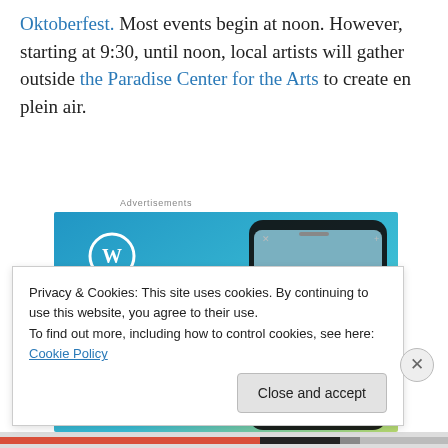Oktoberfest. Most events begin at noon. However, starting at 9:30, until noon, local artists will gather outside the Paradise Center for the Arts to create en plein air.
[Figure (illustration): WordPress advertisement showing a smartphone displaying a travel blog post titled 'Visiting Skógafoss' with a waterfall and hiker, with text 'Create immersive stories.' and the WordPress logo (W in a circle) on a blue gradient background.]
Privacy & Cookies: This site uses cookies. By continuing to use this website, you agree to their use.
To find out more, including how to control cookies, see here: Cookie Policy